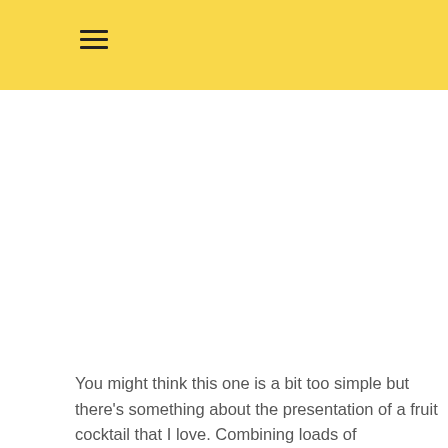You might think this one is a bit too simple but there's something about the presentation of a fruit cocktail that I love. Combining loads of